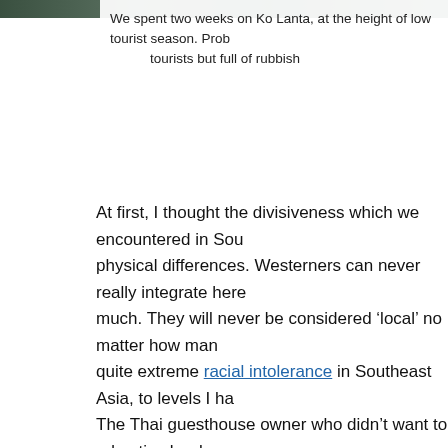[Figure (photo): Top strip of a photograph, showing a dark greenish landscape or water scene, cropped at the top of the page.]
We spent two weeks on Ko Lanta, at the height of low tourist season. Prob... tourists but full of rubbish
At first, I thought the divisiveness which we encountered in Sou... physical differences. Westerners can never really integrate here ... much. They will never be considered ‘local’ no matter how man... quite extreme racial intolerance in Southeast Asia, to levels I ha... The Thai guesthouse owner who didn’t want to advertise her bu... heaven forbids Chinese visitors turned up.  Or the Indonesian fo... heartedly after refusing to feed two Burmese migrants.
If you are one of those who holds the common misconception th... white race, you may need to travel a little more. Asian racism is... widespread. A unique aspect here, as opposed to many other par... ingrained in their very current laws and was part of their very re...
The cleansing of ethnic Chinese in Indonesia, in the 1960s, is so... mentioned. If you ever happen to have a spare 90 minutes, then...